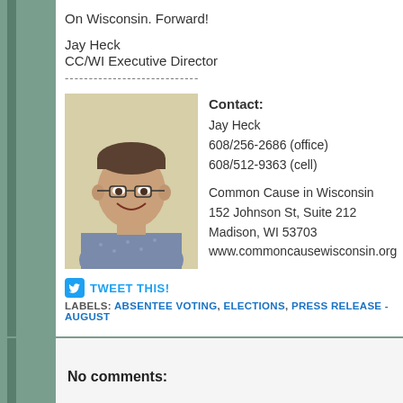On Wisconsin. Forward!
Jay Heck
CC/WI Executive Director
----------------------------
[Figure (photo): Headshot of Jay Heck, a middle-aged man with glasses, smiling, wearing a patterned shirt, against a light background.]
Contact:
Jay Heck
608/256-2686 (office)
608/512-9363 (cell)

Common Cause in Wisconsin
152 Johnson St, Suite 212
Madison, WI 53703
www.commoncausewisconsin.org
TWEET THIS!
LABELS: ABSENTEE VOTING, ELECTIONS, PRESS RELEASE - AUGUST
No comments: